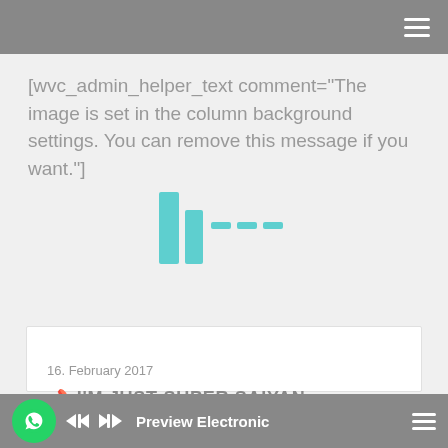[Figure (screenshot): Top navigation bar with grey background and hamburger menu icon (three white lines) on the right side]
[wvc_admin_helper_text comment="The image is set in the column background settings. You can remove this message if you want."]
[Figure (logo): Teal/cyan colored loading or logo icon consisting of two vertical bars and dashed lines, resembling a media/loading symbol]
16. February 2017
📌 I'M JUST SUPER SAIYAN
[Figure (screenshot): Bottom bar with WhatsApp green circle icon, skip-back and skip-forward media control buttons, 'Preview Electronic' label, and hamburger menu on the right]